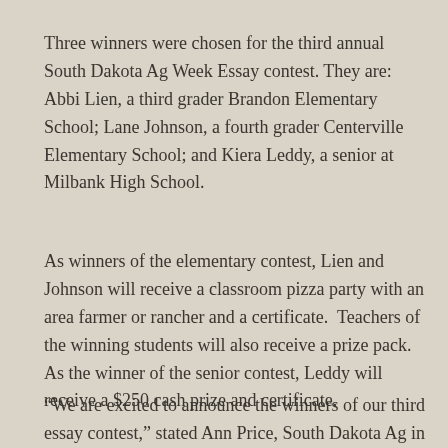Three winners were chosen for the third annual South Dakota Ag Week Essay contest. They are: Abbi Lien, a third grader Brandon Elementary School; Lane Johnson, a fourth grader Centerville Elementary School; and Kiera Leddy, a senior at Milbank High School.
As winners of the elementary contest, Lien and Johnson will receive a classroom pizza party with an area farmer or rancher and a certificate.  Teachers of the winning students will also receive a prize pack. As the winner of the senior contest, Leddy will receive a $250 cash prize and certificate.
“We are excited to announce the winners of our third essay contest,” stated Ann Price, South Dakota Ag in the